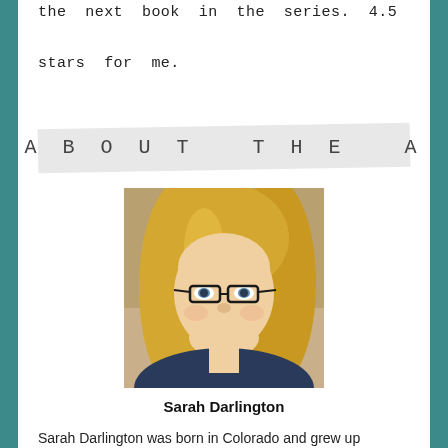the next book in the series. 4.5 stars for me.
ABOUT THE AUTHOR
[Figure (photo): Author photo of Sarah Darlington, a woman with long blonde hair and glasses, smiling.]
Sarah Darlington
Sarah Darlington was born in Colorado and grew up